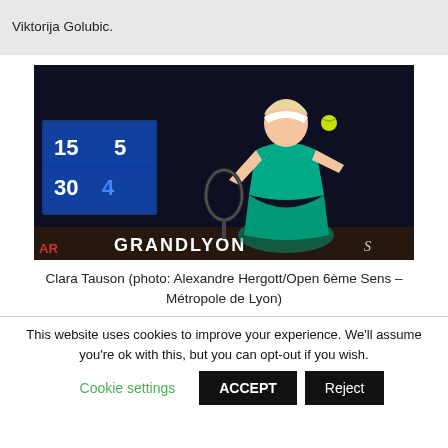Viktorija Golubic.
[Figure (photo): Clara Tauson playing tennis, wearing a teal outfit and white visor, hitting a ball with a racket. A scoreboard and 'GRANDLYON' signage visible in the background.]
Clara Tauson (photo: Alexandre Hergott/Open 6ème Sens – Métropole de Lyon)
This website uses cookies to improve your experience. We'll assume you're ok with this, but you can opt-out if you wish.